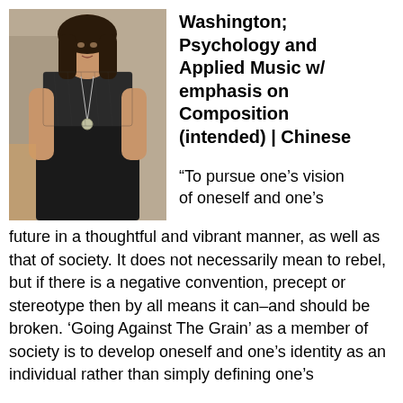[Figure (photo): Photo of a young woman wearing a black lace sleeveless dress with a long necklace, standing indoors.]
Washington; Psychology and Applied Music w/ emphasis on Composition (intended) | Chinese
“To pursue one’s vision of oneself and one’s future in a thoughtful and vibrant manner, as well as that of society. It does not necessarily mean to rebel, but if there is a negative convention, precept or stereotype then by all means it can–and should be broken. ‘Going Against The Grain’ as a member of society is to develop oneself and one’s identity as an individual rather than simply defining one’s